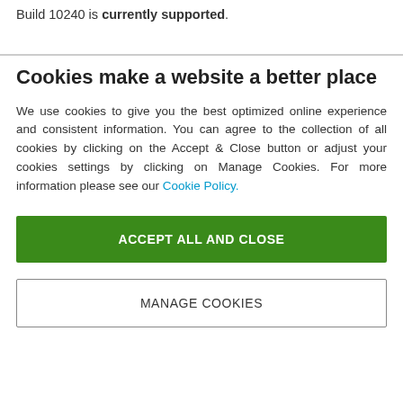Build 10240 is currently supported.
Cookies make a website a better place
We use cookies to give you the best optimized online experience and consistent information. You can agree to the collection of all cookies by clicking on the Accept & Close button or adjust your cookies settings by clicking on Manage Cookies. For more information please see our Cookie Policy.
ACCEPT ALL AND CLOSE
MANAGE COOKIES